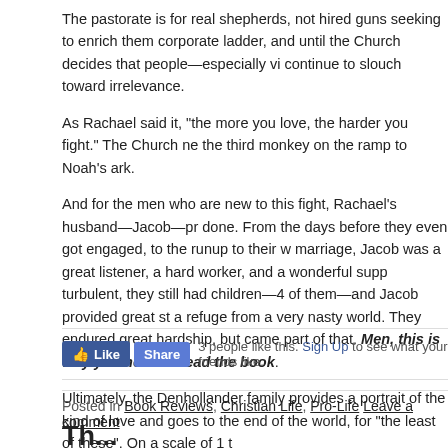The pastorate is for real shepherds, not hired guns seeking to enrich themselves by climbing the corporate ladder, and until the Church decides that people—especially victims—matter, it will continue to slouch toward irrelevance.
As Rachael said it, "the more you love, the harder you fight." The Church needs to stop acting like the third monkey on the ramp to Noah's ark.
And for the men who are new to this fight, Rachael's husband—Jacob—provides a model of how it's done. From the days before they even got engaged, to the runup to their wedding, and throughout their marriage, Jacob was a great listener, a hard worker, and a wonderful support for Rachael. When things were turbulent, they still had children—4 of them—and Jacob provided great stability. The home was a refuge from a very nasty world. They endured great hardship, but came through it. Jacob was a great part of that. Men, this is why you need to read the book.
Ultimately, the Denhollander family provides a portrait of the kind of love that fights to the end, and goes to the end of the world, for "the least of these". On a scale of 1 to
3 people like this. Sign Up to see what your friends like.
Posted in Book Reviews, Christian Life, Pro-Life Leave a comment
Th...